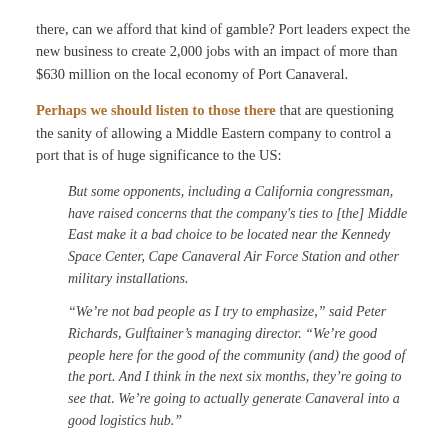there, can we afford that kind of gamble? Port leaders expect the new business to create 2,000 jobs with an impact of more than $630 million on the local economy of Port Canaveral.
Perhaps we should listen to those there that are questioning the sanity of allowing a Middle Eastern company to control a port that is of huge significance to the US:
But some opponents, including a California congressman, have raised concerns that the company's ties to [the] Middle East make it a bad choice to be located near the Kennedy Space Center, Cape Canaveral Air Force Station and other military installations.
“We’re not bad people as I try to emphasize,” said Peter Richards, Gulftainer’s managing director. “We’re good people here for the good of the community (and) the good of the port. And I think in the next six months, they’re going to see that. We’re going to actually generate Canaveral into a good logistics hub.”